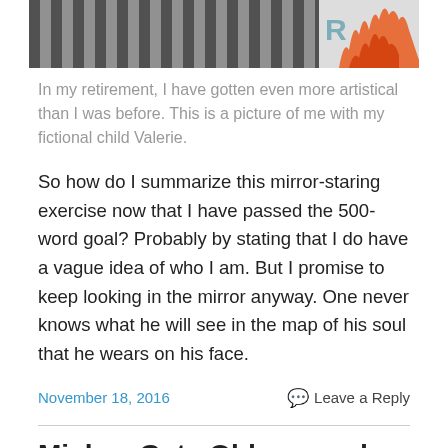[Figure (photo): Top portion of a photo showing a person in a striped shirt with colorful artwork visible on the right side]
In my retirement, I have gotten even more artistical than I was before.  This is a picture of me with my fictional child Valerie.
So how do I summarize this mirror-staring exercise now that I have passed the 500-word goal?  Probably by stating that I do have a vague idea of who I am.  But I promise to keep looking in the mirror anyway.  One never knows what he will see in the map of his soul that he wears on his face.
November 18, 2016
Leave a Reply
Mickey Gets Older… and